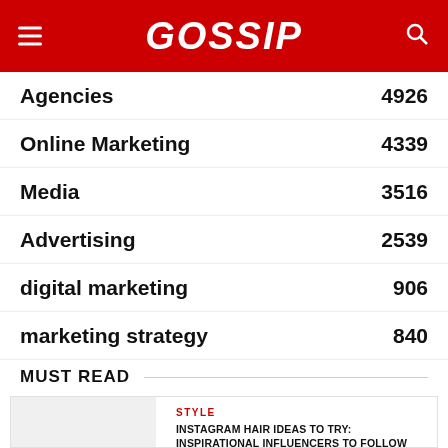GOSSIP
Agencies  4926
Online Marketing  4339
Media  3516
Advertising  2539
digital marketing  906
marketing strategy  840
MUST READ
STYLE
INSTAGRAM HAIR IDEAS TO TRY: INSPIRATIONAL INFLUENCERS TO FOLLOW